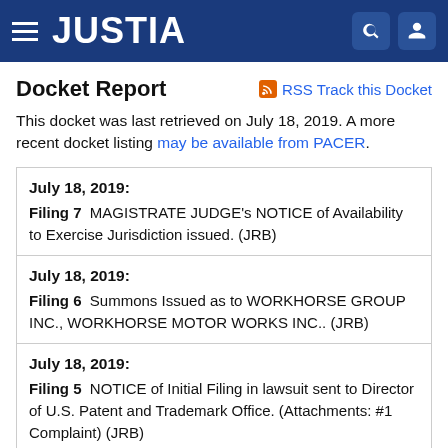JUSTIA
Docket Report
RSS Track this Docket
This docket was last retrieved on July 18, 2019. A more recent docket listing may be available from PACER.
| July 18, 2019:
Filing 7  MAGISTRATE JUDGE's NOTICE of Availability to Exercise Jurisdiction issued. (JRB) |
| July 18, 2019:
Filing 6  Summons Issued as to WORKHORSE GROUP INC., WORKHORSE MOTOR WORKS INC.. (JRB) |
| July 18, 2019:
Filing 5  NOTICE of Initial Filing in lawsuit sent to Director of U.S. Patent and Trademark Office. (Attachments: #1 Complaint) (JRB) |